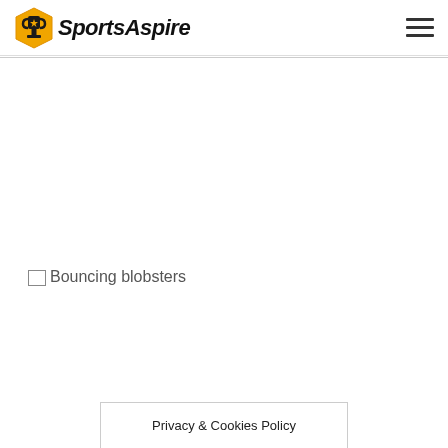SportsAspire
[Figure (illustration): Broken image placeholder with alt text 'Bouncing blobsters']
Privacy & Cookies Policy